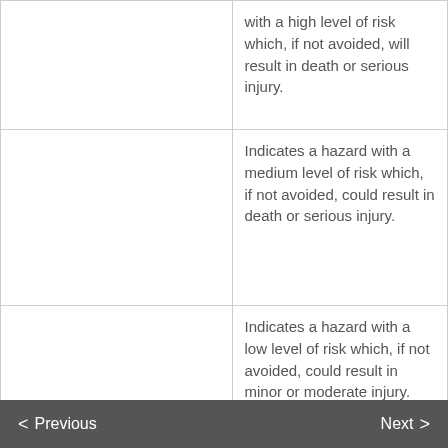|  | with a high level of risk which, if not avoided, will result in death or serious injury. |
|  | Indicates a hazard with a medium level of risk which, if not avoided, could result in death or serious injury. |
|  | Indicates a hazard with a low level of risk which, if not avoided, could result in minor or moderate injury. |
|  | Indicates a potentially hazardous situation which, if not avoided, |
< Previous   Next >